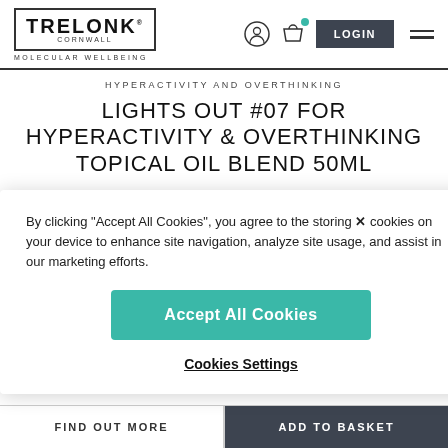TRELONK CORNWALL – MOLECULAR WELLBEING
HYPERACTIVITY AND OVERTHINKING
LIGHTS OUT #07 FOR HYPERACTIVITY & OVERTHINKING TOPICAL OIL BLEND 50ML
By clicking "Accept All Cookies", you agree to the storing cookies on your device to enhance site navigation, analyze site usage, and assist in our marketing efforts.
Accept All Cookies
Cookies Settings
FIND OUT MORE | ADD TO BASKET